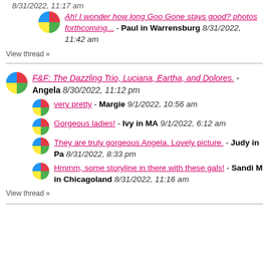8/31/2022, 11:17 am
Ah! I wonder how long Goo Gone stays good? photos forthcoming... - Paul in Warrensburg 8/31/2022, 11:42 am
View thread »
F&F: The Dazzling Trio, Luciana, Eartha, and Dolores. - Angela 8/30/2022, 11:12 pm
very pretty - Margie 9/1/2022, 10:56 am
Gorgeous ladies! - Ivy in MA 9/1/2022, 6:12 am
They are truly gorgeous Angela. Lovely picture. - Judy in Pa 8/31/2022, 8:33 pm
Hmmm, some storyline in there with these gals! - Sandi M in Chicagoland 8/31/2022, 11:16 am
View thread »